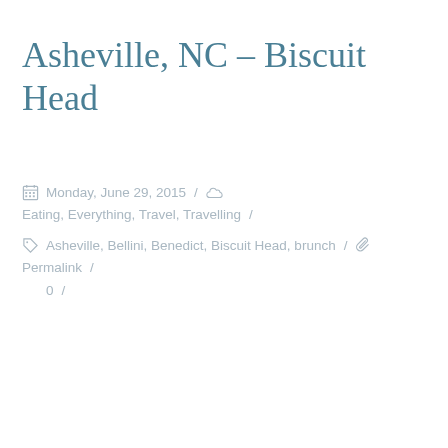Asheville, NC – Biscuit Head
Monday, June 29, 2015 / Eating, Everything, Travel, Travelling /
Asheville, Bellini, Benedict, Biscuit Head, brunch / Permalink /
0 /